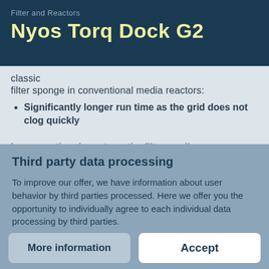Filter and Reactors
Nyos Torq Dock G2
classic
filter sponge in conventional media reactors:
Significantly longer run time as the grid does not clog quickly
Third party data processing
To improve our offer, we have information about user behavior by third parties processed. Here we offer you the opportunity to individually agree to each individual data processing by third parties.
Privacy